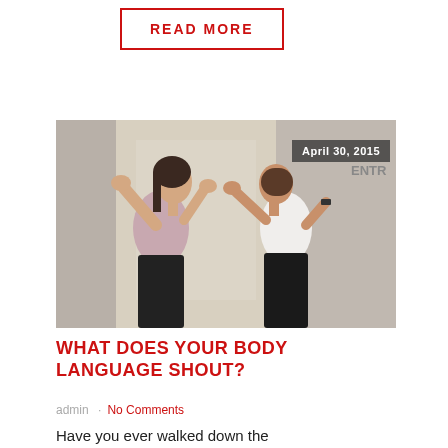READ MORE
[Figure (photo): Two women facing each other with hands raised in an animated conversation or argument, one in a pink top and black skirt, one in a white top and black pants. Date badge reads April 30, 2015.]
WHAT DOES YOUR BODY LANGUAGE SHOUT?
admin · No Comments
Have you ever walked down the